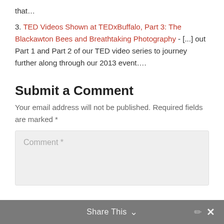that…
3. TED Videos Shown at TEDxBuffalo, Part 3: The Blackawton Bees and Breathtaking Photography - [...] out Part 1 and Part 2 of our TED video series to journey further along through our 2013 event….
Submit a Comment
Your email address will not be published. Required fields are marked *
Comment *
Share This ∨  ✕